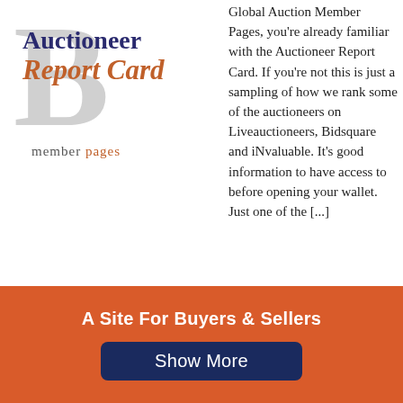[Figure (logo): Auctioneer Report Card member pages logo with large grey letter B in background, 'Auctioneer' in navy bold serif, 'Report Card' in orange italic serif, and 'member pages' below in grey with orange 'pages']
Global Auction Member Pages, you're already familiar with the Auctioneer Report Card. If you're not this is just a sampling of how we rank some of the auctioneers on Liveauctioneers, Bidsquare and iNvaluable. It's good information to have access to before opening your wallet. Just one of the [...]
Share this:
A Site For Buyers & Sellers
Show More